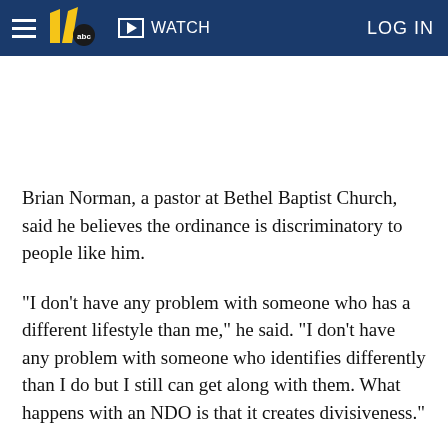WATCH | LOG IN
Brian Norman, a pastor at Bethel Baptist Church, said he believes the ordinance is discriminatory to people like him.
"I don't have any problem with someone who has a different lifestyle than me," he said. "I don't have any problem with someone who identifies differently than I do but I still can get along with them. What happens with an NDO is that it creates divisiveness."